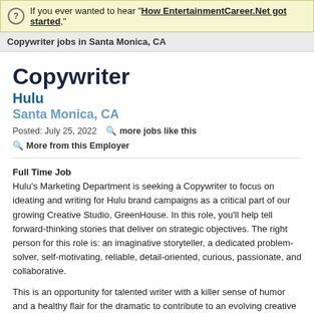If you ever wanted to hear "How EntertainmentCareer.Net got started,"
Copywriter jobs in Santa Monica, CA
Copywriter
Hulu
Santa Monica, CA
Posted: July 25, 2022   more jobs like this   More from this Employer
Full Time Job
Hulu's Marketing Department is seeking a Copywriter to focus on ideating and writing for Hulu brand campaigns as a critical part of our growing Creative Studio, GreenHouse. In this role, you'll help tell forward-thinking stories that deliver on strategic objectives. The right person for this role is: an imaginative storyteller, a dedicated problem-solver, self-motivating, reliable, detail-oriented, curious, passionate, and collaborative.
This is an opportunity for talented writer with a killer sense of humor and a healthy flair for the dramatic to contribute to an evolving creative vision and marketing strategy. You will help build the Hulu brand across a variety of channels and assets. Opportunities are yours for the making.